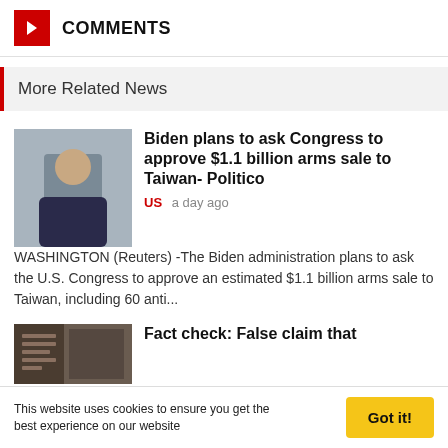COMMENTS
More Related News
[Figure (photo): Photo of President Biden in a dark suit]
Biden plans to ask Congress to approve $1.1 billion arms sale to Taiwan- Politico
US   a day ago
WASHINGTON (Reuters) -The Biden administration plans to ask the U.S. Congress to approve an estimated $1.1 billion arms sale to Taiwan, including 60 anti...
[Figure (photo): Interior photo for Fact check article]
Fact check: False claim that
This website uses cookies to ensure you get the best experience on our website